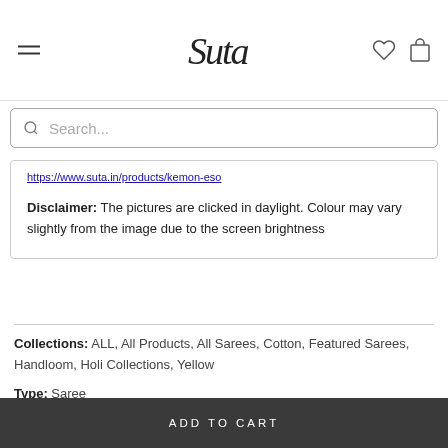Suta logo with hamburger menu, heart icon, and bag icon
Search...
https://www.suta.in/products/kemon-eso (link text, truncated)
Disclaimer: The pictures are clicked in daylight. Colour may vary slightly from the image due to the screen brightness
Collections: ALL, All Products, All Sarees, Cotton, Featured Sarees, Handloom, Holi Collections, Yellow
Type: Saree
ADD TO CART